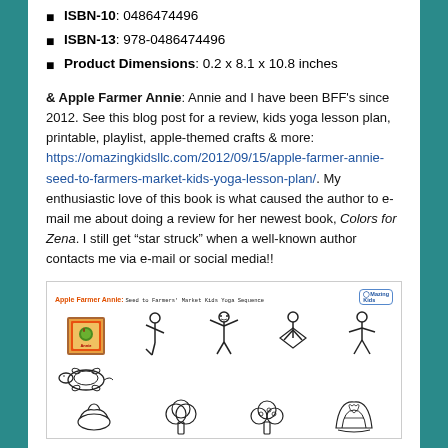ISBN-10: 0486474496
ISBN-13: 978-0486474496
Product Dimensions: 0.2 x 8.1 x 10.8 inches
& Apple Farmer Annie: Annie and I have been BFF's since 2012. See this blog post for a review, kids yoga lesson plan, printable, playlist, apple-themed crafts & more: https://omazingkidsllc.com/2012/09/15/apple-farmer-annie-seed-to-farmers-market-kids-yoga-lesson-plan/. My enthusiastic love of this book is what caused the author to e-mail me about doing a review for her newest book, Colors for Zena. I still get “star struck” when a well-known author contacts me via e-mail or social media!!
[Figure (illustration): Apple Farmer Annie: Seed to Farmers' Market Kids Yoga Sequence worksheet showing stick figure yoga poses and drawings of farm items. Header in orange reads 'Apple Farmer Annie: Seed to Farmers' Market Kids Yoga Sequence' with an Omazing Kids logo badge. Below are rows of stick figures in yoga poses and a book thumbnail.]